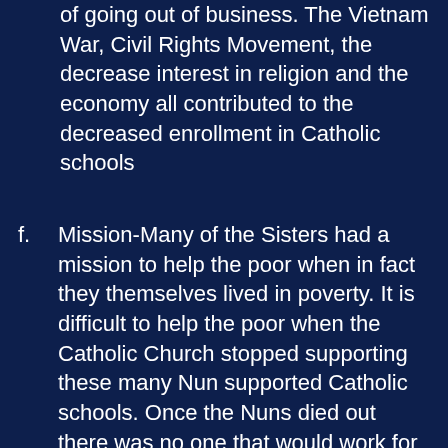of going out of business. The Vietnam War, Civil Rights Movement, the decrease interest in religion and the economy all contributed to the decreased enrollment in Catholic schools
f. Mission-Many of the Sisters had a mission to help the poor when in fact they themselves lived in poverty. It is difficult to help the poor when the Catholic Church stopped supporting these many Nun supported Catholic schools. Once the Nuns died out there was no one that would work for free to replace them. They kept costs down because they worked for virtually